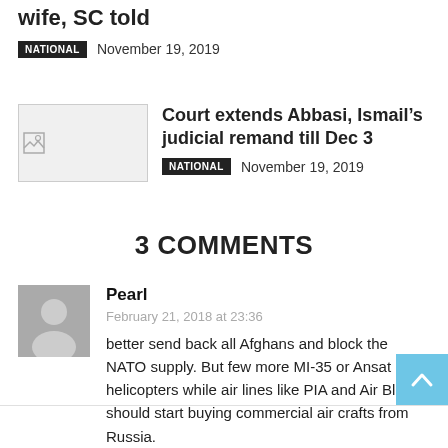wife, SC told
NATIONAL   November 19, 2019
[Figure (photo): Thumbnail image placeholder for article about Abbasi and Ismail judicial remand]
Court extends Abbasi, Ismail’s judicial remand till Dec 3
NATIONAL   November 19, 2019
3 COMMENTS
Pearl
February 21, 2018 at 23:36
better send back all Afghans and block the NATO supply. But few more MI-35 or Ansat helicopters while air lines like PIA and Air Blue should start buying commercial air crafts from Russia.